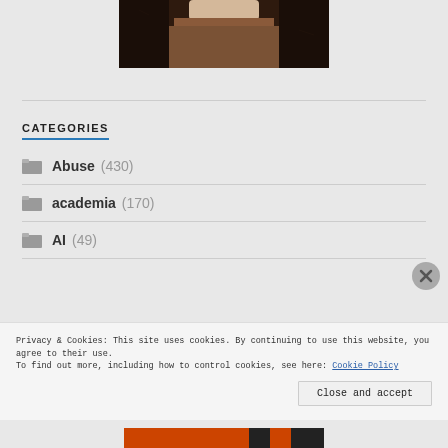[Figure (photo): Partial photo of a person wearing dark trousers, cropped at the waist, sepia/vintage tone]
CATEGORIES
Abuse (430)
academia (170)
AI (49)
Privacy & Cookies: This site uses cookies. By continuing to use this website, you agree to their use.
To find out more, including how to control cookies, see here: Cookie Policy
Close and accept